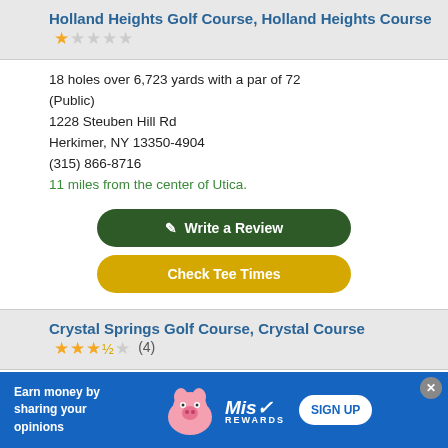Holland Heights Golf Course, Holland Heights Course
18 holes over 6,723 yards with a par of 72 (Public)
1228 Steuben Hill Rd
Herkimer, NY 13350-4904
(315) 866-8716
11 miles from the center of Utica.
Write a Review
Check Tee Times
Crystal Springs Golf Course, Crystal Course (4)
9 holes over 3,400 yards with a par of 35 (Public)
6300 State Route 5
Vernon, NY 13476-4936
[Figure (infographic): Advertisement banner: Earn money by sharing your opinions with a pink pig mascot and Miso Rewards logo and SIGN UP button]